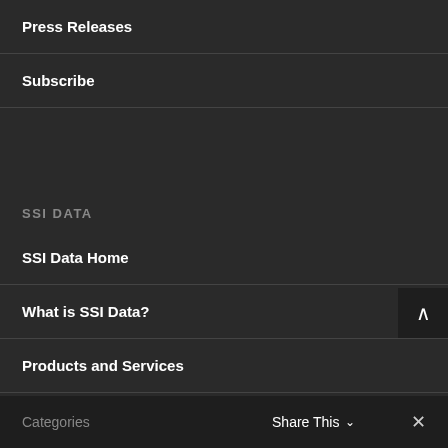Press Releases
Subscribe
SSI DATA
SSI Data Home
What is SSI Data?
Products and Services
Categories   Share This ∨   ✕